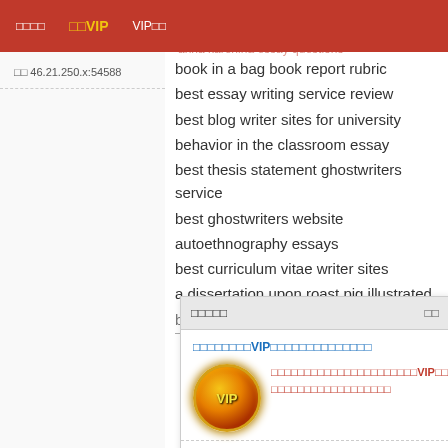□□□□  □□VIP  VIP□□  best□□□ratum□□□□□  proo□□□□□□□  for hi□□□  anna karenina essay questions
□□ 46.21.250.x:54588
book in a bag book report rubric
best essay writing service review
best blog writer sites for university
behavior in the classroom essay
best thesis statement ghostwriters service
best ghostwriters website
autoethnography essays
best curriculum vitae writer sites
a dissertation upon roast pig illustrated
biographical sketch sample thesis
□□□□□  □□
□□□□□□□□VIP□□□□□□□□□□□□□□
□□□□□□□□□□□□□□□□□□□□□□VIP□□□□□□□□□□□□
□□□□□□□□□□□□□□□□□□
□□ »